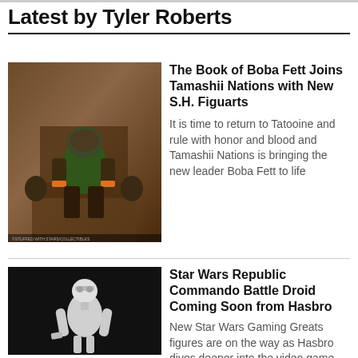Latest by Tyler Roberts
[Figure (photo): Boba Fett action figure seated on a throne with decorative background, from The Book of Boba Fett]
The Book of Boba Fett Joins Tamashii Nations with New S.H. Figuarts
It is time to return to Tatooine and rule with honor and blood and Tamashii Nations is bringing the new leader Boba Fett to life
[Figure (photo): Star Wars Republic Commando Battle Droid white figure against black background]
Star Wars Republic Commando Battle Droid Coming Soon from Hasbro
New Star Wars Gaming Greats figures are on the way as Hasbro dives deeper into the video game world with new